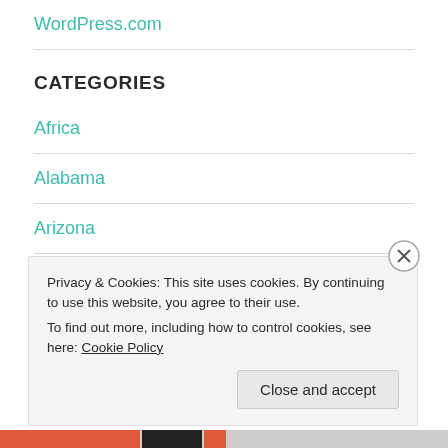WordPress.com
CATEGORIES
Africa
Alabama
Arizona
Privacy & Cookies: This site uses cookies. By continuing to use this website, you agree to their use.
To find out more, including how to control cookies, see here: Cookie Policy
Close and accept